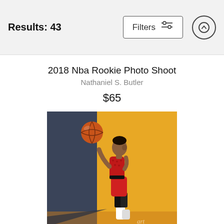Results: 43   Filters   ↑
2018 Nba Rookie Photo Shoot
Nathaniel S. Butler
$65
[Figure (photo): NBA rookie basketball player in red jersey and shorts, looking up at a basketball above him, posed against a two-tone dark grey and golden yellow background, studio photo shoot setting.]